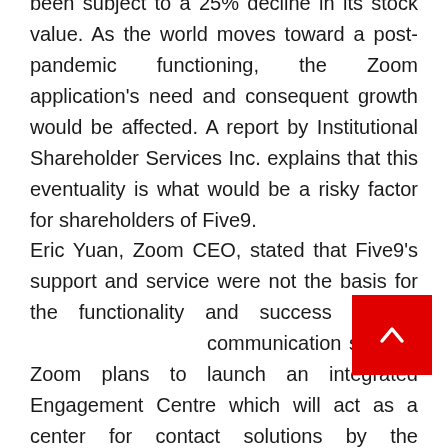been subject to a 25% decline in its stock value. As the world moves toward a post-pandemic functioning, the Zoom application's need and consequent growth would be affected. A report by Institutional Shareholder Services Inc. explains that this eventuality is what would be a risky factor for shareholders of Five9.
Eric Yuan, Zoom CEO, stated that Five9's support and service were not the basis for the functionality and success of the communication system. Zoom plans to launch an integrated Engagement Centre which will act as a center for contact solutions by the beginning of 2022.